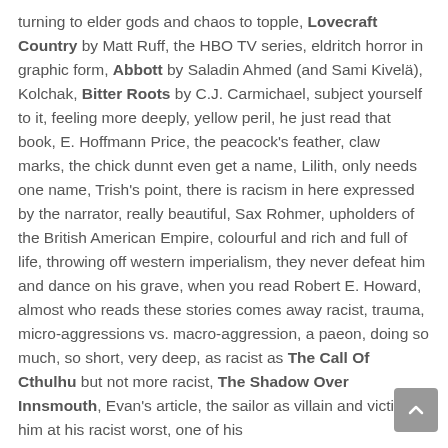turning to elder gods and chaos to topple, Lovecraft Country by Matt Ruff, the HBO TV series, eldritch horror in graphic form, Abbott by Saladin Ahmed (and Sami Kivelä), Kolchak, Bitter Roots by C.J. Carmichael, subject yourself to it, feeling more deeply, yellow peril, he just read that book, E. Hoffmann Price, the peacock's feather, claw marks, the chick dunnt even get a name, Lilith, only needs one name, Trish's point, there is racism in here expressed by the narrator, really beautiful, Sax Rohmer, upholders of the British American Empire, colourful and rich and full of life, throwing off western imperialism, they never defeat him and dance on his grave, when you read Robert E. Howard, almost who reads these stories comes away racist, trauma, micro-aggressions vs. macro-aggression, a paeon, doing so much, so short, very deep, as racist as The Call Of Cthulhu but not more racist, The Shadow Over Innsmouth, Evan's article, the sailor as villain and victim, him at his racist worst, one of his